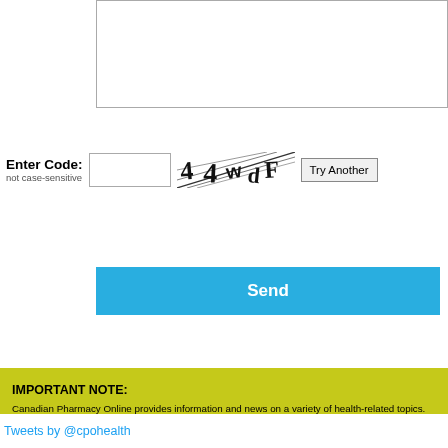[Figure (screenshot): Text input box at top of page (partially visible, cropped)]
Enter Code:
not case-sensitive
[Figure (screenshot): CAPTCHA image showing distorted text '44wdF' with diagonal lines through it]
[Figure (screenshot): Try Another button]
[Figure (screenshot): Send button (blue)]
IMPORTANT NOTE:
Canadian Pharmacy Online provides information and news on a variety of health-related topics. The details we provide are not meant to indicate proper treatment, medical advice, or diagnosis. While we stand behind our research and writing, our content is not intended to be a substitute for individual medical attention from your physician or veterinarian. Use the information provided to increase your health-related awareness and always bring your questions or concerns to your doctor or vet for a proper diagnosis. Never delay seeking the proper medical attention because of something you may have read on this website or any other health-related blog.
Tweets by @cpohealth